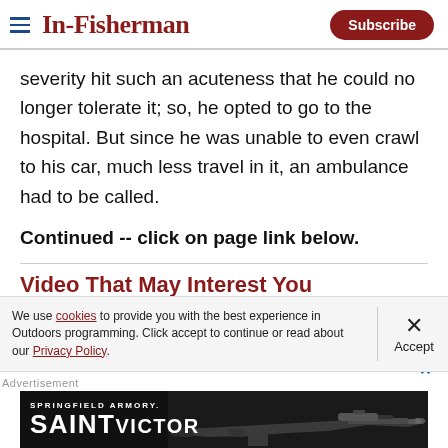In-Fisherman | Subscribe
severity hit such an acuteness that he could no longer tolerate it; so, he opted to go to the hospital. But since he was unable to even crawl to his car, much less travel in it, an ambulance had to be called.
Continued -- click on page link below.
Video That May Interest You
We use cookies to provide you with the best experience in Outdoors programming. Click accept to continue or read about our Privacy Policy.
Advertisement
[Figure (photo): Springfield Armory Saint Victor rifle advertisement banner]